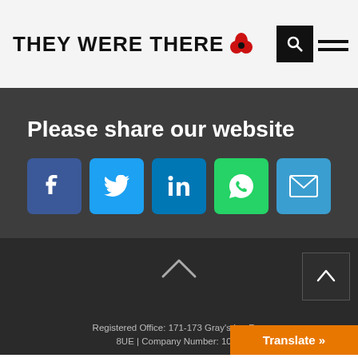THEY WERE THERE
Please share our website
[Figure (infographic): Social share buttons: Facebook, Twitter, LinkedIn, WhatsApp, Email]
Registered Office: 171-173 Gray's Inn Road 8UE | Company Number: 1010...